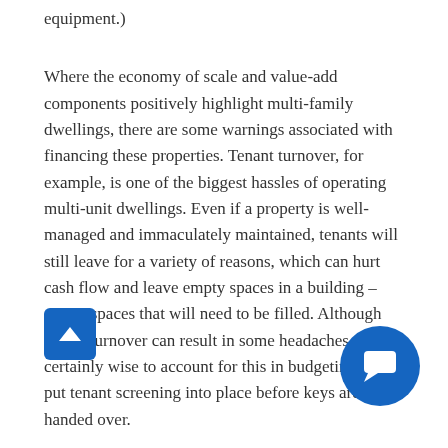equipment.)
Where the economy of scale and value-add components positively highlight multi-family dwellings, there are some warnings associated with financing these properties. Tenant turnover, for example, is one of the biggest hassles of operating multi-unit dwellings. Even if a property is well-managed and immaculately maintained, tenants will still leave for a variety of reasons, which can hurt cash flow and leave empty spaces in a building – empty spaces that will need to be filled. Although tenant turnover can result in some headaches, it is certainly wise to account for this in budgeting, and put tenant screening into place before keys are handed over.
It is also important to keep in mind that due to the size of these properties, their down payments are much more substantial than a conventional single-family unit.